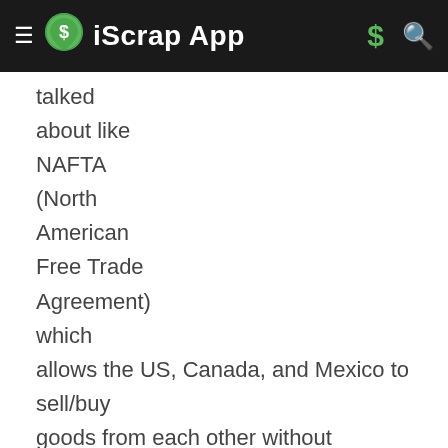iScrap App
talked about like NAFTA (North American Free Trade Agreement) which allows the US, Canada, and Mexico to sell/buy goods from each other without additional fees tacked on and also other deals put into place.

Over time though, the US has been buying more and more goods from overseas and the